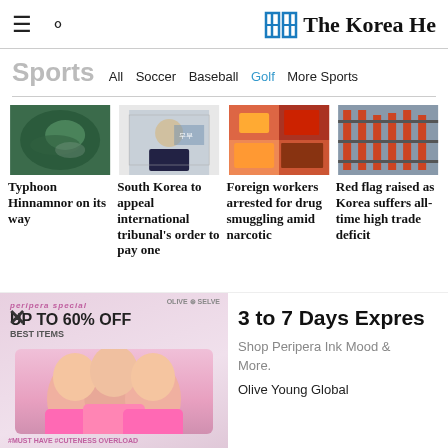The Korea Herald
Sports  All  Soccer  Baseball  Golf  More Sports
[Figure (photo): Four news article thumbnail images in a row: satellite view of typhoon, Korean official at podium, colorful food/product packages, shipping port cranes]
Typhoon Hinnamnor on its way
South Korea to appeal international tribunal's order to pay one
Foreign workers arrested for drug smuggling amid narcotic
Red flag raised as Korea suffers all-time high trade deficit
[Figure (photo): Advertisement: Peripera special UP TO 60% OFF BEST ITEMS - photo of three girls, Olive Young Global branding]
3 to 7 Days Express
Shop Peripera Ink Mood & More.
Olive Young Global